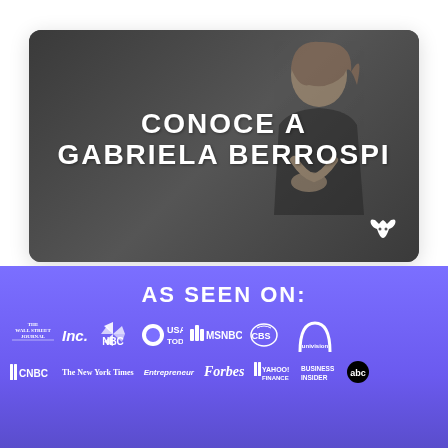[Figure (photo): Dark background video thumbnail card showing a woman (Gabriela Berrospi) with text overlay reading 'CONOCE A GABRIELA BERROSPI' and a bull logo in the bottom right corner]
AS SEEN ON:
[Figure (logo): Row of media outlet logos on purple background: The Wall Street Journal, Inc., NBC, USA Today, MSNBC, CBS, Univision (top row); CNBC, The New York Times, Entrepreneur, Forbes, Yahoo Finance, Business Insider, ABC (bottom row)]